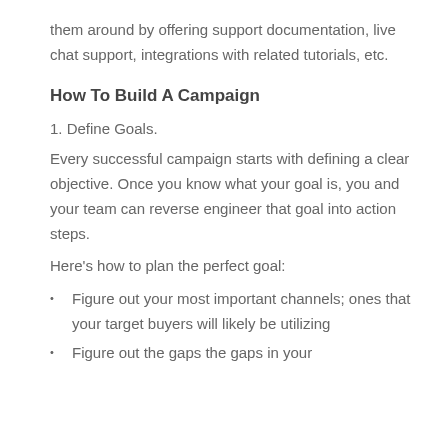them around by offering support documentation, live chat support, integrations with related tutorials, etc.
How To Build A Campaign
1. Define Goals.
Every successful campaign starts with defining a clear objective. Once you know what your goal is, you and your team can reverse engineer that goal into action steps.
Here's how to plan the perfect goal:
Figure out your most important channels; ones that your target buyers will likely be utilizing
Figure out the gaps the gaps in your